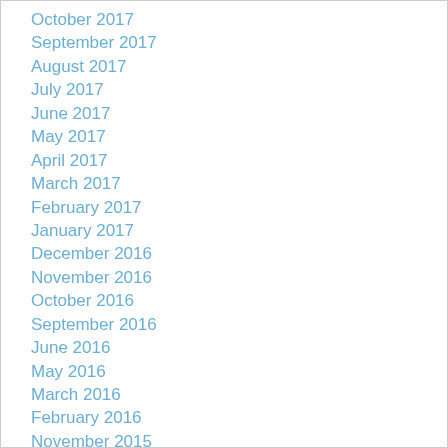October 2017
September 2017
August 2017
July 2017
June 2017
May 2017
April 2017
March 2017
February 2017
January 2017
December 2016
November 2016
October 2016
September 2016
June 2016
May 2016
March 2016
February 2016
November 2015
November 2014
October 2014